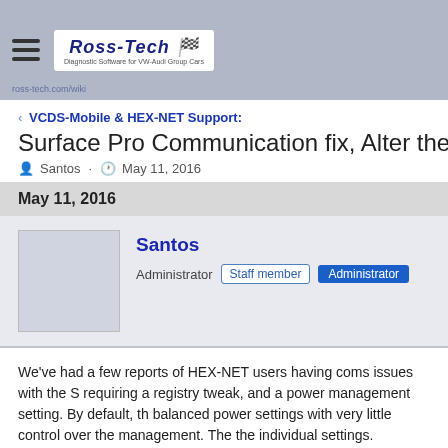[Figure (logo): Ross-Tech logo with hamburger menu icon in a blue-grey header bar]
VCDS-Mobile & HEX-NET Support:
Surface Pro Communication fix, Alter the Power setti
Santos · May 11, 2016
May 11, 2016
Santos
Administrator  Staff member  Administrator
We've had a few reports of HEX-NET users having coms issues with the S requiring a registry tweak, and a power management setting. By default, th balanced power settings with very little control over the management. The the individual settings.
Registry Modification: Script:
Right Click, Save As
Then run the file and reboot.
Come back to this thread and see "Disable wireless Adapter power sav